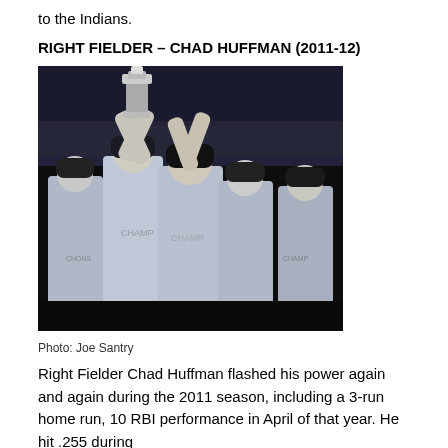to the Indians.
RIGHT FIELDER – CHAD HUFFMAN (2011-12)
[Figure (photo): Baseball players in gray uniforms celebrating, with one player hoisting a championship trophy above his head with both arms raised. Dark background, likely night game at a stadium.]
Photo: Joe Santry
Right Fielder Chad Huffman flashed his power again and again during the 2011 season, including a 3-run home run, 10 RBI performance in April of that year. He hit .255 during